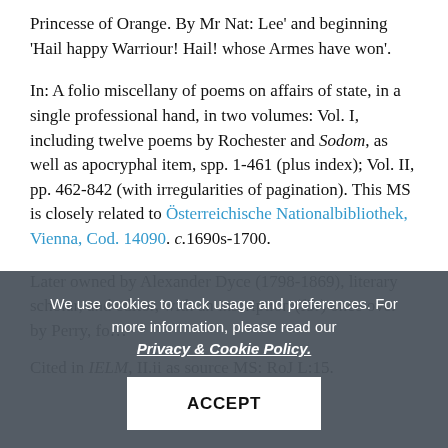Princesse of Orange. By Mr Nat: Lee' and beginning 'Hail happy Warriour! Hail! whose Armes have won'.
In: A folio miscellany of poems on affairs of state, in a single professional hand, in two volumes: Vol. I, including twelve poems by Rochester and Sodom, as well as apocryphal item, spp. 1-461 (plus index); Vol. II, pp. 462-842 (with irregularities of pagination). This MS is closely related to Österreichische Nationalbibliothek, Vienna, Cod. 14090. c.1690s-1700.
Later owned by Alexander Dyce (1798-1869), literary scholar, and editor, with an inscription (f5r) once over by Perry, fo...
Cited in IELM, II.ii as source MS: RoJ L:15.
We use cookies to track usage and preferences. For more information, please read our Privacy & Cookie Policy.